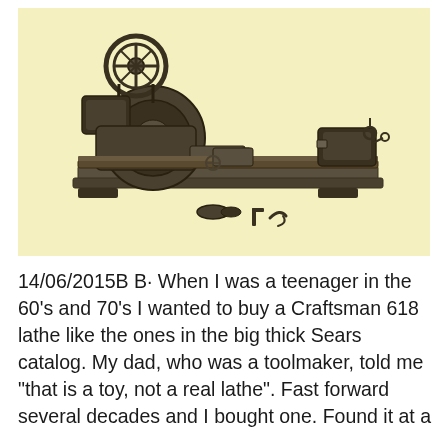[Figure (illustration): Vintage sepia-toned illustration of a Craftsman 618 metal lathe on a pale yellow background, showing headstock with belt drive pulley, lathe bed, tailstock, and small accessories laid in front.]
14/06/2015B B· When I was a teenager in the 60's and 70's I wanted to buy a Craftsman 618 lathe like the ones in the big thick Sears catalog. My dad, who was a toolmaker, told me "that is a toy, not a real lathe". Fast forward several decades and I bought one. Found it at a